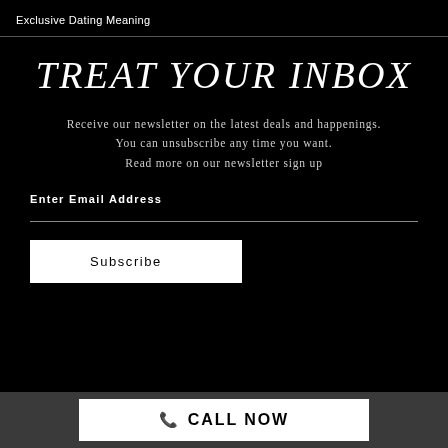Exclusive Dating Meaning
TREAT YOUR INBOX
Receive our newsletter on the latest deals and happenings. You can unsubscribe any time you want. Read more on our newsletter sign up
Enter Email Address
Subscribe
CALL NOW